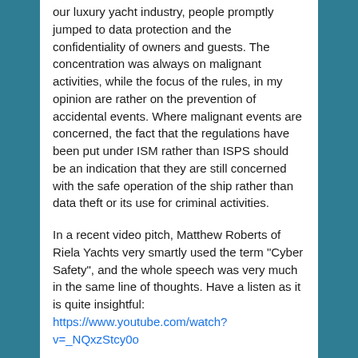our luxury yacht industry, people promptly jumped to data protection and the confidentiality of owners and guests. The concentration was always on malignant activities, while the focus of the rules, in my opinion are rather on the prevention of accidental events. Where malignant events are concerned, the fact that the regulations have been put under ISM rather than ISPS should be an indication that they are still concerned with the safe operation of the ship rather than data theft or its use for criminal activities.
In a recent video pitch, Matthew Roberts of Riela Yachts very smartly used the term "Cyber Safety", and the whole speech was very much in the same line of thoughts. Have a listen as it is quite insightful: https://www.youtube.com/watch?v=_NQxzStcy0o
A few months ago, I had a discussion with a friend about Motor Yacht VENUS and her bridge visibility. The opposing argument was that all is computer driven and the captain just walks about on deck